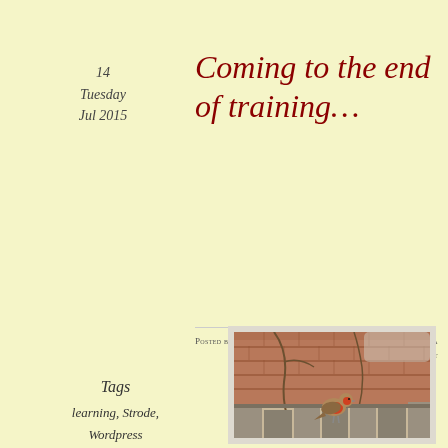14
Tuesday
Jul 2015
Coming to the end of training…
Posted by Musiewild in Something new  ≈ Leave a comment
Tags
learning, Strode, Wordpress
[Figure (photo): A robin bird perched on a wooden fence with a red brick wall in the background. The photo is in soft natural light with bare branches visible.]